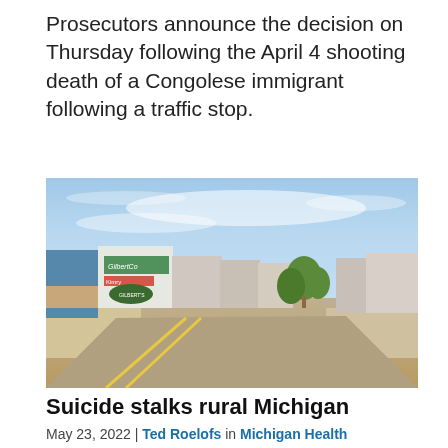Prosecutors announce the decision on Thursday following the April 4 shooting death of a Congolese immigrant following a traffic stop.
[Figure (photo): Street-level view of a small-town main street with storefronts including Gilbert's signage, blue sky with light clouds, a road with yellow center line markings, and trees in the background.]
Suicide stalks rural Michigan
May 23, 2022 | Ted Roelofs in Michigan Health